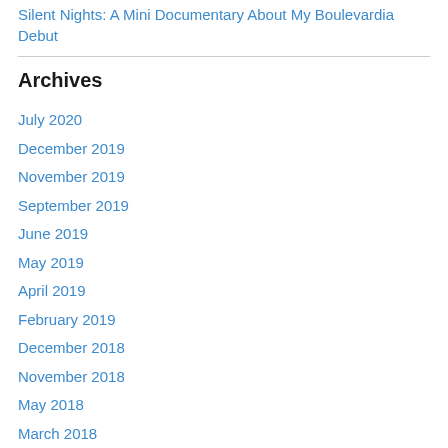Silent Nights: A Mini Documentary About My Boulevardia Debut
Archives
July 2020
December 2019
November 2019
September 2019
June 2019
May 2019
April 2019
February 2019
December 2018
November 2018
May 2018
March 2018
October 2017
September 2017
August 2017